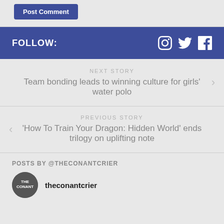Post Comment
FOLLOW:
NEXT STORY
Team bonding leads to winning culture for girls' water polo
PREVIOUS STORY
'How To Train Your Dragon: Hidden World' ends trilogy on uplifting note
POSTS BY @THECONANTCRIER
theconantcrier